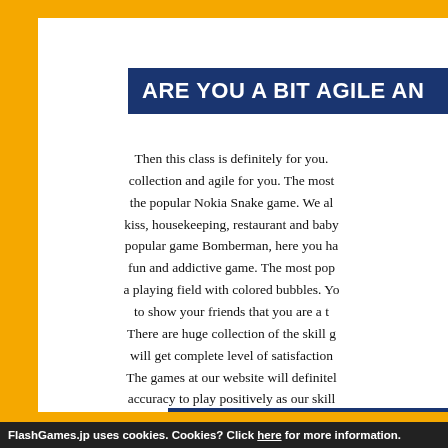ARE YOU A BIT AGILE AN...
Then this class is definitely for you. collection and agile for you. The most the popular Nokia Snake game. We al... kiss, housekeeping, restaurant and baby... popular game Bomberman, here you ha... fun and addictive game. The most pop... a playing field with colored bubbles. Yo... to show your friends that you are a t... There are huge collection of the skill g... will get complete level of satisfaction... The games at our website will definitel... accuracy to play positively as our skill ... any number of time and that too free... to visit at our website and find...
HUGE VARIETY...
Where many children do not get eno... engage when you can not think of any...
FlashGames.jp uses cookies. Cookies? Click here for more information.